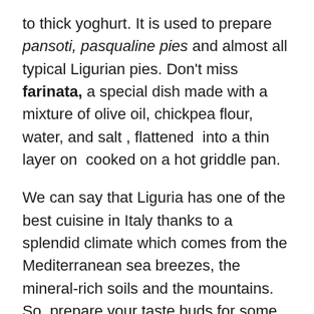to thick yoghurt. It is used to prepare pansoti, pasqualine pies and almost all typical Ligurian pies. Don't miss farinata, a special dish made with a mixture of olive oil, chickpea flour, water, and salt , flattened  into a thin layer on  cooked on a hot griddle pan.
We can say that Liguria has one of the best cuisine in Italy thanks to a splendid climate which comes from the Mediterranean sea breezes, the mineral-rich soils and the mountains. So, prepare your taste buds for some of the best restaurants in Liguria where you can taste many of the region's famous delicacies and drink traditional wines.
Liguria's best places where you can drink and dine with your family